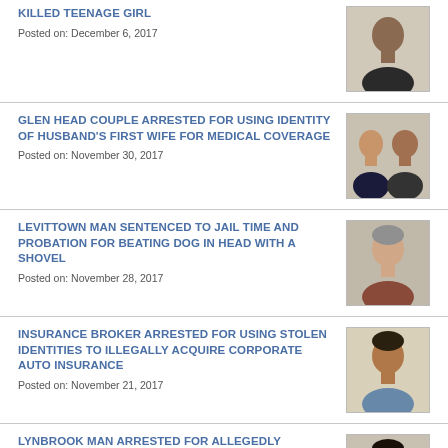KILLED TEENAGE GIRL
Posted on: December 6, 2017
[Figure (photo): Mugshot of a man]
GLEN HEAD COUPLE ARRESTED FOR USING IDENTITY OF HUSBAND'S FIRST WIFE FOR MEDICAL COVERAGE
Posted on: November 30, 2017
[Figure (photo): Mugshots of a couple, woman and man]
LEVITTOWN MAN SENTENCED TO JAIL TIME AND PROBATION FOR BEATING DOG IN HEAD WITH A SHOVEL
Posted on: November 28, 2017
[Figure (photo): Mugshot of an older man with gray hair]
INSURANCE BROKER ARRESTED FOR USING STOLEN IDENTITIES TO ILLEGALLY ACQUIRE CORPORATE AUTO INSURANCE
Posted on: November 21, 2017
[Figure (photo): Mugshot of an older man]
LYNBROOK MAN ARRESTED FOR ALLEGEDLY IMPERSONATING ATTORNEY & STEALING MORE THAN $100K FROM HOMEOWNERS
[Figure (photo): Mugshot of a man]